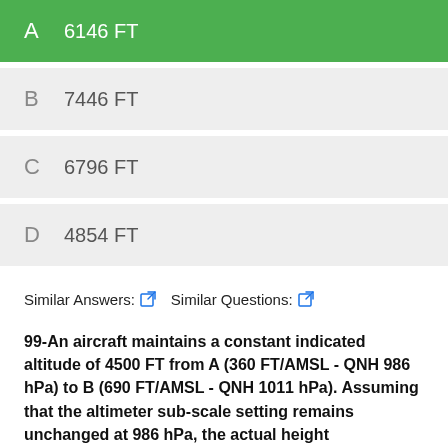A  6146 FT
B  7446 FT
C  6796 FT
D  4854 FT
Similar Answers:  Similar Questions:
99-An aircraft maintains a constant indicated altitude of 4500 FT from A (360 FT/AMSL - QNH 986 hPa) to B (690 FT/AMSL - QNH 1011 hPa). Assuming that the altimeter sub-scale setting remains unchanged at 986 hPa, the actual height